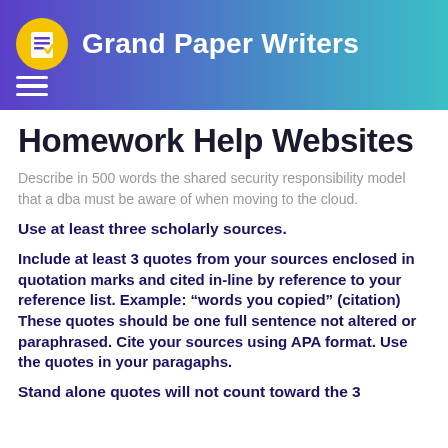Grand Paper Writers
Homework Help Websites
Describe in 500 words the shared security responsibility model that a dba must be aware of when moving to the cloud.
Use at least three scholarly sources.
Include at least 3 quotes from your sources enclosed in quotation marks and cited in-line by reference to your reference list.  Example: “words you copied” (citation) These quotes should be one full sentence not altered or paraphrased. Cite your sources using APA format. Use the quotes in your paragaphs.
Stand alone quotes will not count toward the 3